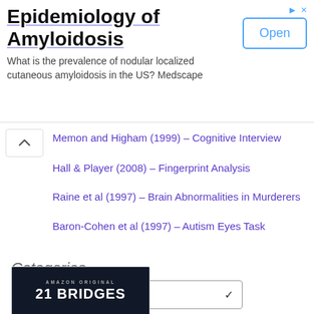[Figure (other): Advertisement banner for Epidemiology of Amyloidosis with title text, subtitle about prevalence of nodular localized cutaneous amyloidosis, and an Open button]
Memon and Higham (1999) – Cognitive Interview
Hall & Player (2008) – Fingerprint Analysis
Raine et al (1997) – Brain Abnormalities in Murderers
Baron-Cohen et al (1997) – Autism Eyes Task
Categories
Select Category
[Figure (other): Amazon Original 21 Bridges movie advertisement with dark background and actor silhouette]